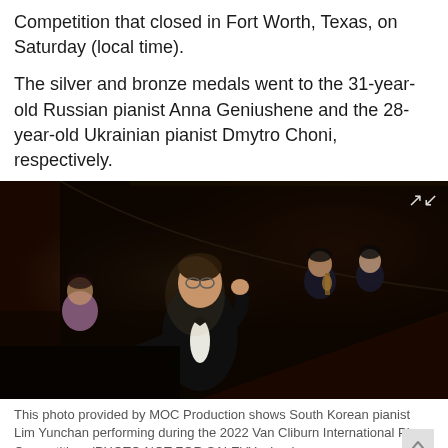Competition that closed in Fort Worth, Texas, on Saturday (local time).
The silver and bronze medals went to the 31-year-old Russian pianist Anna Geniushene and the 28-year-old Ukrainian pianist Dmytro Choni, respectively.
[Figure (photo): Photo of South Korean pianist Lim Yunchan performing at piano during the 2022 Van Cliburn International Piano Competition, wearing a tuxedo with bow tie, with orchestra musicians visible in the background.]
This photo provided by MOC Production shows South Korean pianist Lim Yunchan performing during the 2022 Van Cliburn International Piano Competition. (PHOTO NOT FOR SALE)(Yonhap)